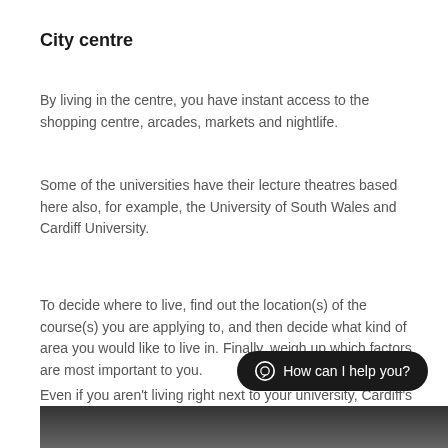City centre
By living in the centre, you have instant access to the shopping centre, arcades, markets and nightlife.
Some of the universities have their lecture theatres based here also, for example, the University of South Wales and Cardiff University.
To decide where to live, find out the location(s) of the course(s) you are applying to, and then decide what kind of area you would like to live in. Finally, weigh up which factors are most important to you.
Even if you aren't living right next to your university, Cardiff's transport system is great for getting around quickly.
[Figure (photo): Dark partial image at the bottom of the page]